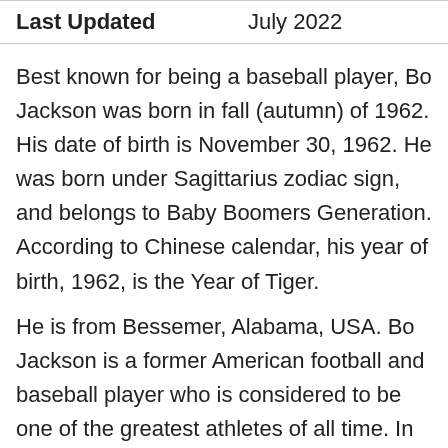| Last Updated | July 2022 |
Best known for being a baseball player, Bo Jackson was born in fall (autumn) of 1962. His date of birth is November 30, 1962. He was born under Sagittarius zodiac sign, and belongs to Baby Boomers Generation. According to Chinese calendar, his year of birth, 1962, is the Year of Tiger.
He is from Bessemer, Alabama, USA. Bo Jackson is a former American football and baseball player who is considered to be one of the greatest athletes of all time. In 1996, he was inducted into the College Football Hall of Fame. He ended his career after a hip injury in 1991. Jackson has appeared in